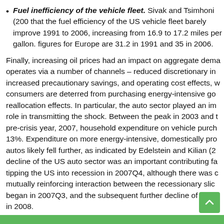Fuel inefficiency of the vehicle fleet. Sivak and Tsimhoni (2006) found that the fuel efficiency of the US vehicle fleet barely improved from 1991 to 2006, increasing from 16.9 to 17.2 miles per gallon. The figures for Europe are 31.2 in 1991 and 35 in 2006.
Finally, increasing oil prices had an impact on aggregate demand and operates via a number of channels – reduced discretionary income, increased precautionary savings, and operating cost effects, where consumers are deterred from purchasing energy-intensive goods, and reallocation effects. In particular, the auto sector played an important role in transmitting the shock. Between the peak in 2003 and the pre-crisis year, 2007, household expenditure on vehicle purchases fell 13%. Expenditure on more energy-intensive, domestically produced autos likely fell further, as indicated by Edelstein and Kilian (2009). The decline of the US auto sector was an important contributing factor in tipping the US into recession in 2007Q4, although there was a mutually reinforcing interaction between the recessionary slide that began in 2007Q3, and the subsequent further decline of the auto sector in 2008.